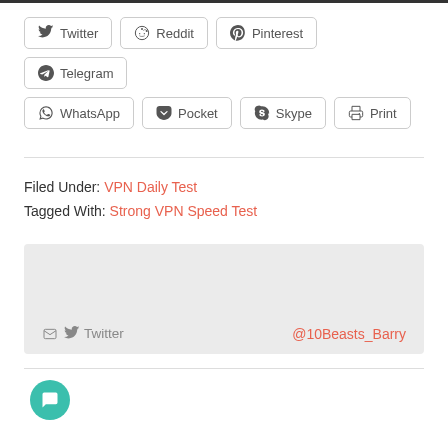[Figure (other): Row of social share buttons: Twitter, Reddit, Pinterest, Telegram, WhatsApp, Pocket, Skype, Print]
Filed Under: VPN Daily Test
Tagged With: Strong VPN Speed Test
[Figure (screenshot): Twitter card widget showing tweet icon, @10Beasts_Barry handle in coral/red color on gray background]
[Figure (other): Green circular chat/message button icon in bottom left corner]